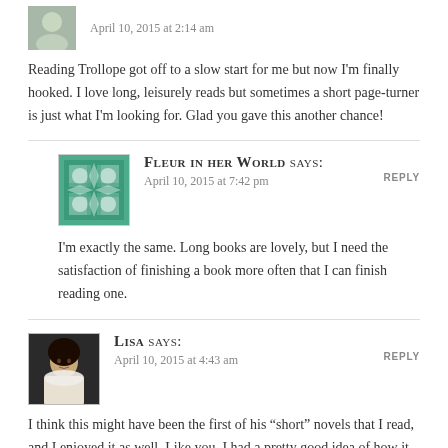April 10, 2015 at 2:14 am
Reading Trollope got off to a slow start for me but now I'm finally hooked. I love long, leisurely reads but sometimes a short page-turner is just what I'm looking for. Glad you gave this another chance!
Fleur in her World says:
April 10, 2015 at 7:42 pm
I'm exactly the same. Long books are lovely, but I need the satisfaction of finishing a book more often that I can finish reading one.
Lisa says:
April 10, 2015 at 4:43 am
I think this might have been the first of his “short” novels that I read, and I enjoyed it as well. Like you, I had a pretty good idea of how it was going to all turn out, but that didn’t make me enjoy it any less. I particularly remember the stepmother in this book. Mr. Trollope had a few unpleasant ones – not monsters but also not nice to the heroine in very realistic ways.